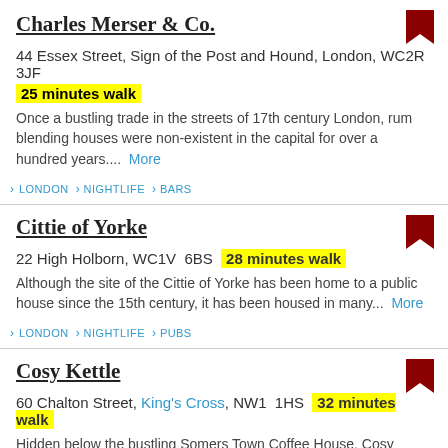Charles Merser & Co.
44 Essex Street, Sign of the Post and Hound, London, WC2R  3JF
25 minutes walk
Once a bustling trade in the streets of 17th century London, rum blending houses were non-existent in the capital for over a hundred years....  More
› LONDON › NIGHTLIFE › BARS
Cittie of Yorke
22 High Holborn, WC1V  6BS  28 minutes walk
Although the site of the Cittie of Yorke has been home to a public house since the 15th century, it has been housed in many...  More
› LONDON › NIGHTLIFE › PUBS
Cosy Kettle
60 Chalton Street, King's Cross, NW1  1HS  32 minutes walk
Hidden below the bustling Somers Town Coffee House, Cosy Kettle